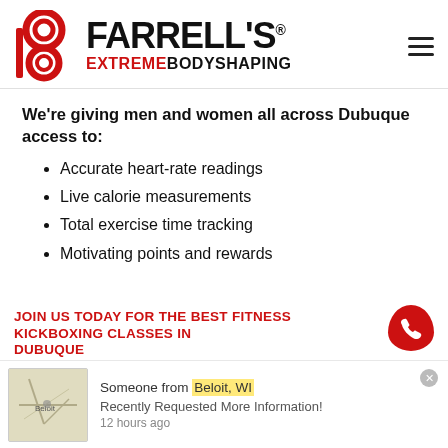[Figure (logo): Farrell's Extreme Bodyshaping logo with red stylized 'F' icon and black bold brand name with red EXTREME text]
We're giving men and women all across Dubuque access to:
Accurate heart-rate readings
Live calorie measurements
Total exercise time tracking
Motivating points and rewards
JOIN US TODAY FOR THE BEST FITNESS KICKBOXING CLASSES IN DUBUQUE
Someone from Beloit, WI
Recently Requested More Information!
12 hours ago